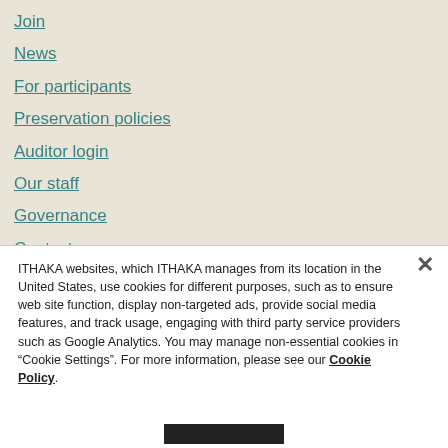Join
News
For participants
Preservation policies
Auditor login
Our staff
Governance
Contact us
ITHAKA websites, which ITHAKA manages from its location in the United States, use cookies for different purposes, such as to ensure web site function, display non-targeted ads, provide social media features, and track usage, engaging with third party service providers such as Google Analytics. You may manage non-essential cookies in “Cookie Settings”. For more information, please see our Cookie Policy.